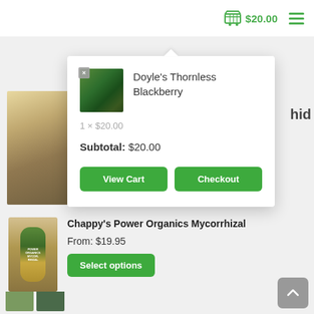$20.00
[Figure (screenshot): Shopping cart popup showing Doyle's Thornless Blackberry product, 1 x $20.00, Subtotal: $20.00, with View Cart and Checkout buttons]
Doyle's Thornless Blackberry
1 × $20.00
Subtotal: $20.00
Chappy's Power Organics Mycorrhizal
From: $19.95